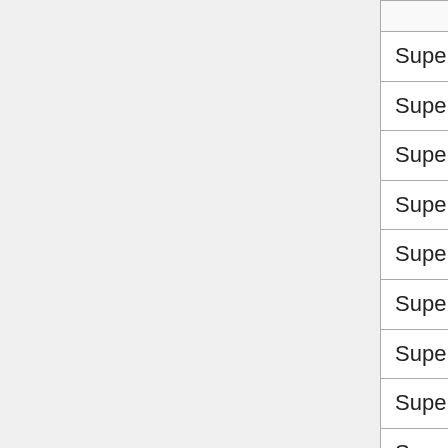| (game name) | (column 2) | (column 3) |
| --- | --- | --- |
| Super Car Road Trip | N/A | N... |
| Super Car Road Trip 2 | N/A | N... |
| Super Castle Sprint | N/A | N... |
| Super Crazy Guitar Maniac Deluxe | N/A | N... |
| Super Crazy Guitar Maniac Deluxe 2 | N/A | N... |
| Super Crazy Guitar Maniac Deluxe 3 | N/A | N... |
| Super Crazy Guitar Maniac Deluxe 4 | N/A | N... |
| Super Cut-It | N/A | N... |
| Super Deepthroat | Yes | Z... |
| Super Demon Hunter | N/A | N... |
| Super Handball | N/A | N... |